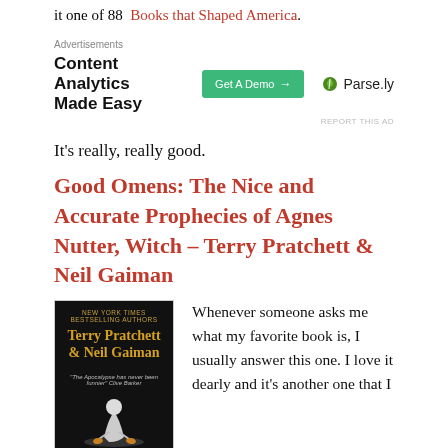it one of 88 Books that Shaped America.
[Figure (other): Parse.ly advertisement: Content Analytics Made Easy, with a green Get A Demo button and Parse.ly logo]
It's really, really good.
Good Omens: The Nice and Accurate Prophecies of Agnes Nutter, Witch – Terry Pratchett & Neil Gaiman
[Figure (photo): Book cover of Good Omens by Terry Pratchett & Neil Gaiman, dark background with golden author names]
Whenever someone asks me what my favorite book is, I usually answer this one. I love it dearly and it's another one that I